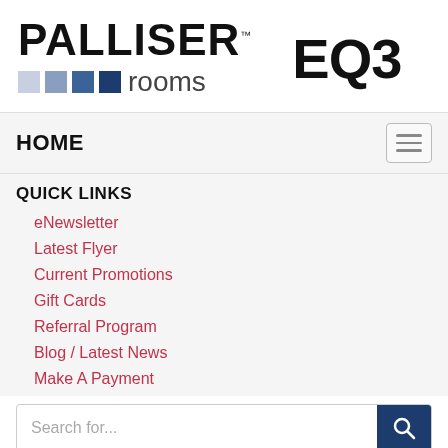[Figure (logo): Palliser Rooms logo with colored squares and EQ3 logo]
HOME
QUICK LINKS
eNewsletter
Latest Flyer
Current Promotions
Gift Cards
Referral Program
Blog / Latest News
Make A Payment
Search for...
STAY UP TO DATE
[Figure (illustration): Social media icons: Facebook, Twitter, Instagram, Pinterest, YouTube]